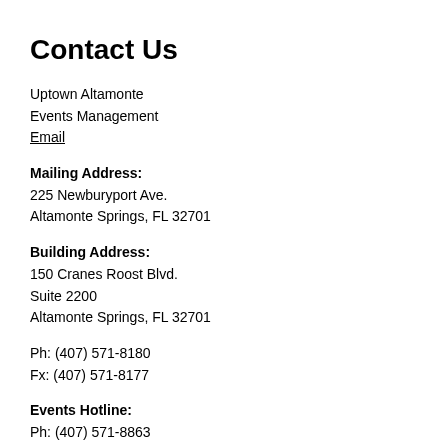Contact Us
Uptown Altamonte
Events Management
Email
Mailing Address:
225 Newburyport Ave.
Altamonte Springs, FL 32701
Building Address:
150 Cranes Roost Blvd.
Suite 2200
Altamonte Springs, FL 32701
Ph: (407) 571-8180
Fx: (407) 571-8177
Events Hotline:
Ph: (407) 571-8863